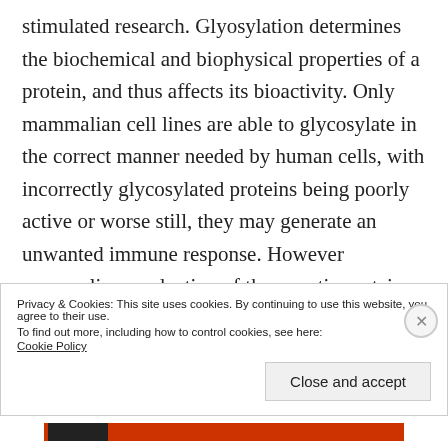stimulated research. Glyosylation determines the biochemical and biophysical properties of a protein, and thus affects its bioactivity. Only mammalian cell lines are able to glycosylate in the correct manner needed by human cells, with incorrectly glycosylated proteins being poorly active or worse still, they may generate an unwanted immune response. However mammalian production of therapeutic proteins is costly and also requires continual testing for
Privacy & Cookies: This site uses cookies. By continuing to use this website, you agree to their use.
To find out more, including how to control cookies, see here:
Cookie Policy
Close and accept